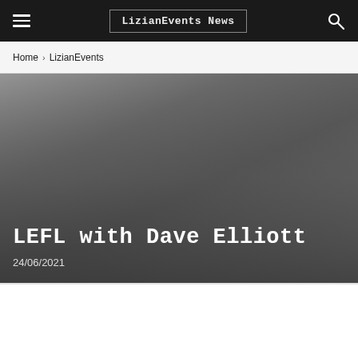LizianEvents News
Home › LizianEvents
[Figure (photo): Dark grey gradient hero image background for article]
LEFL with Dave Elliott
24/06/2021